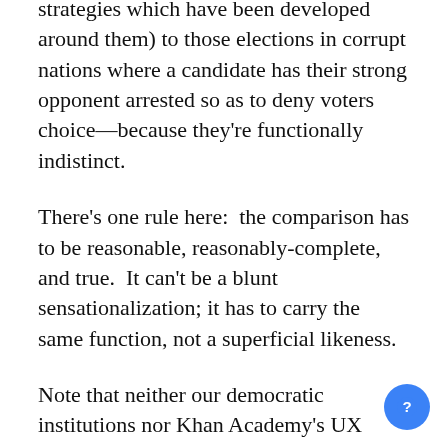strategies which have been developed around them) to those elections in corrupt nations where a candidate has their strong opponent arrested so as to deny voters choice—because they're functionally indistinct.
There's one rule here:  the comparison has to be reasonable, reasonably-complete, and true.  It can't be a blunt sensationalization; it has to carry the same function, not a superficial likeness.
Note that neither our democratic institutions nor Khan Academy's UX were designed with the intent of abuse; they were designed in earnest, but their functional behavior is harmful.
People often respond relatively-strongly to such things, and typically gain an appreciation for the problem.
In this case, that Khan Academy's new UX essentially gives